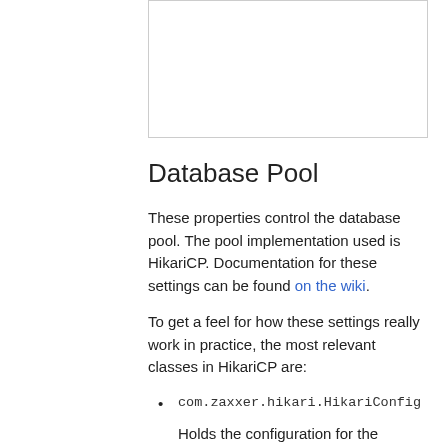[Figure (other): White box / image placeholder at top of page]
Database Pool
These properties control the database pool. The pool implementation used is HikariCP. Documentation for these settings can be found on the wiki.
To get a feel for how these settings really work in practice, the most relevant classes in HikariCP are:
com.zaxxer.hikari.HikariConfig
Holds the configuration for the database pool and has documentation for the available settings.
com.zaxxer.hikari.pool.HikariPoo
Provides the database pool and manages